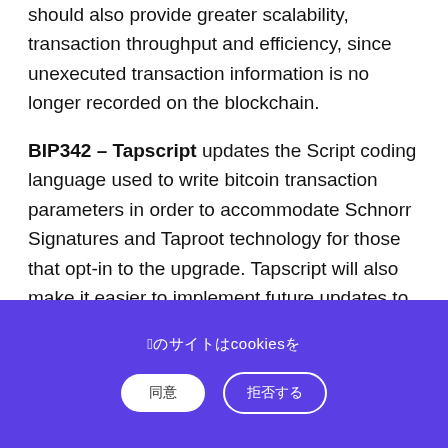should also provide greater scalability, transaction throughput and efficiency, since unexecuted transaction information is no longer recorded on the blockchain.
BIP342 – Tapscript updates the Script coding language used to write bitcoin transaction parameters in order to accommodate Schnorr Signatures and Taproot technology for those that opt-in to the upgrade. Tapscript will also make it easier to implement future updates to Bitcoin by allowing new types of opcodes (transaction instructions) to be more
このサイトはcookiesを
同意　　　拒否する